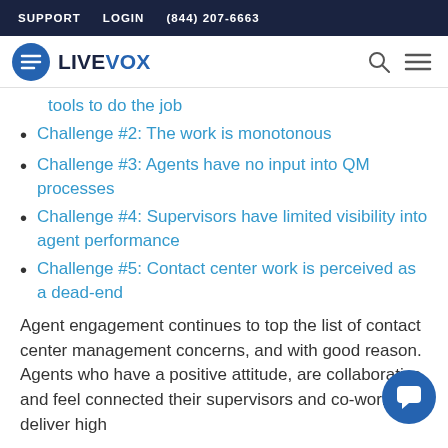SUPPORT   LOGIN   (844) 207-6663
[Figure (logo): LiveVox logo with blue circle icon and LIVEVOX text, plus search and menu icons]
tools to do the job
Challenge #2: The work is monotonous
Challenge #3: Agents have no input into QM processes
Challenge #4: Supervisors have limited visibility into agent performance
Challenge #5: Contact center work is perceived as a dead-end
Agent engagement continues to top the list of contact center management concerns, and with good reason. Agents who have a positive attitude, are collaborative, and feel connected their supervisors and co-workers deliver high